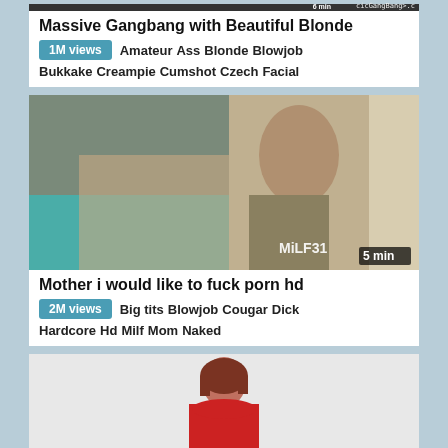[Figure (screenshot): Video thumbnail (top, partially visible) with watermark text and duration badge showing '6 min']
Massive Gangbang with Beautiful Blonde
1M views  Amateur  Ass  Blonde  Blowjob  Bukkake  Creampie  Cumshot  Czech  Facial
[Figure (screenshot): Video thumbnail showing a woman and a man in an indoor setting with a couch. Watermark 'MiLF31' visible. Duration badge '5 min'.]
Mother i would like to fuck porn hd
2M views  Big tits  Blowjob  Cougar  Dick  Hardcore  Hd  Milf  Mom  Naked
[Figure (screenshot): Video thumbnail (partially visible) showing a woman in a red top against a white background.]